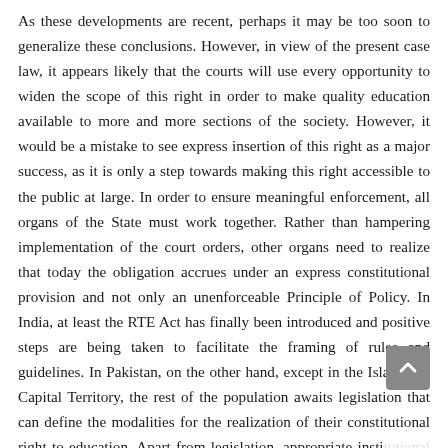As these developments are recent, perhaps it may be too soon to generalize these conclusions. However, in view of the present case law, it appears likely that the courts will use every opportunity to widen the scope of this right in order to make quality education available to more and more sections of the society. However, it would be a mistake to see express insertion of this right as a major success, as it is only a step towards making this right accessible to the public at large. In order to ensure meaningful enforcement, all organs of the State must work together. Rather than hampering implementation of the court orders, other organs need to realize that today the obligation accrues under an express constitutional provision and not only an unenforceable Principle of Policy. In India, at least the RTE Act has finally been introduced and positive steps are being taken to facilitate the framing of rules and guidelines. In Pakistan, on the other hand, except in the Islamabad Capital Territory, the rest of the population awaits legislation that can define the modalities for the realization of their constitutional right to education. Apart from legislation, appropriate institutional and budgetary changes also need to be made. Unless these changes materialize, citizens would continue to be denied effective enforcement of their right to education.